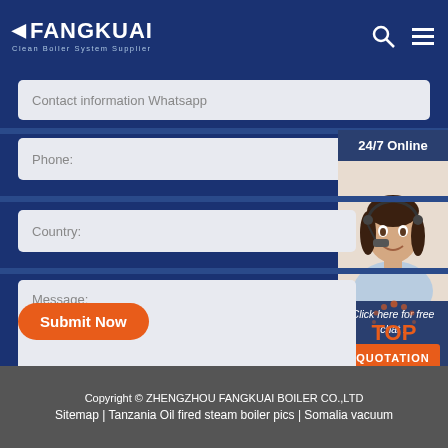FANGKUAI Clean Boiler System Supplier
Contact information Whatsapp
Phone:
[Figure (photo): Customer service agent woman with headset, 24/7 Online widget with 'Click here for free chat!' text and QUOTATION button]
Country:
Message:
Submit Now
[Figure (illustration): TOP scroll-to-top button with orange dots arc above orange TOP text]
Copyright © ZHENGZHOU FANGKUAI BOILER CO.,LTD
Sitemap | Tanzania Oil fired steam boiler pics | Somalia vacuum